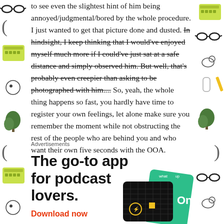to see even the slightest hint of him being annoyed/judgmental/bored by the whole procedure. I just wanted to get that picture done and dusted. In hindsight, I keep thinking that I would've enjoyed myself much more if I could've just sat at a safe distance and simply observed him. But well, that's probably even creepier than asking to be photographed with him.... So, yeah, the whole thing happens so fast, you hardly have time to register your own feelings, let alone make sure you remember the moment while not obstructing the rest of the people who are behind you and who want their own five seconds with the OOA.
Advertisements
[Figure (illustration): Advertisement for a podcast app. Bold black text reads 'The go-to app for podcast lovers.' with red 'Download now' link. App cards/devices shown on the right side.]